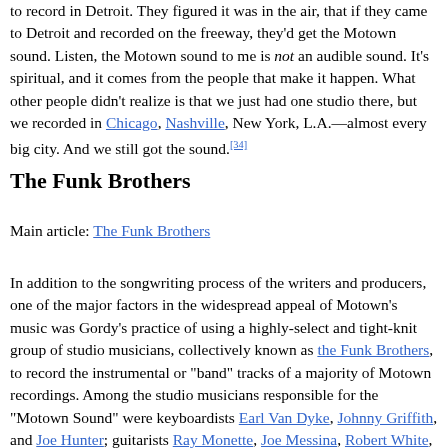to record in Detroit. They figured it was in the air, that if they came to Detroit and recorded on the freeway, they'd get the Motown sound. Listen, the Motown sound to me is not an audible sound. It's spiritual, and it comes from the people that make it happen. What other people didn't realize is that we just had one studio there, but we recorded in Chicago, Nashville, New York, L.A.—almost every big city. And we still got the sound.[34]
The Funk Brothers
Main article: The Funk Brothers
In addition to the songwriting process of the writers and producers, one of the major factors in the widespread appeal of Motown's music was Gordy's practice of using a highly-select and tight-knit group of studio musicians, collectively known as the Funk Brothers, to record the instrumental or "band" tracks of a majority of Motown recordings. Among the studio musicians responsible for the "Motown Sound" were keyboardists Earl Van Dyke, Johnny Griffith, and Joe Hunter; guitarists Ray Monette, Joe Messina, Robert White, and Eddie Willis; percussionists Eddie "Bongo" Brown and Jack Ashford; drummers Benny Benjamin, Uriel Jones,